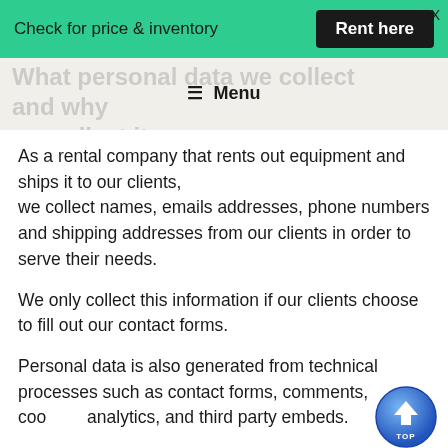Check for price & inventory   Rent here   X
What personal data we collect and why we collect it
≡ Menu
As a rental company that rents out equipment and ships it to our clients, we collect names, emails addresses, phone numbers and shipping addresses from our clients in order to serve their needs.
We only collect this information if our clients choose to fill out our contact forms.
Personal data is also generated from technical processes such as contact forms, comments, cookies, analytics, and third party embeds.
[Figure (other): Blue circular TOP button with upward arrow]